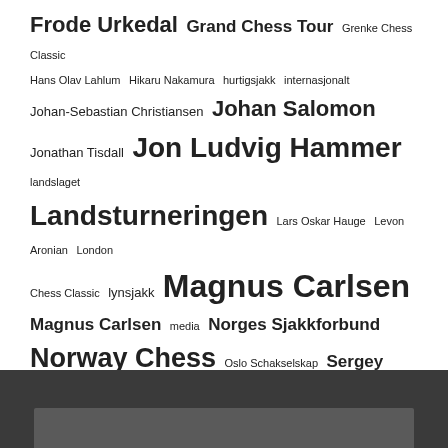[Figure (infographic): Tag cloud of chess-related names and terms at various font sizes indicating frequency/importance. Terms include: Frode Urkedal, Grand Chess Tour, Grenke Chess Classic, Hans Olav Lahlum, Hikaru Nakamura, hurtigsjakk, internasjonalt, Johan-Sebastian Christiansen, Johan Salomon, Jonathan Tisdall, Jon Ludvig Hammer, landslaget, Landsturneringen, Lars Oskar Hauge, Levon Aronian, London Chess Classic, lynsjakk, Magnus Carlsen (very large), Magnus Carlsen (medium), media, Norges Sjakkforbund, Norway Chess (large), Oslo Schakselskap, Sergey Karjakin, Simen Agdestein, Sinquefield Cup, sjakk-OL, sjakk-VM, Stein Bjørnsen, superturnering, talenter, Tata Steel Chess, Turneringer, Wesley So.]